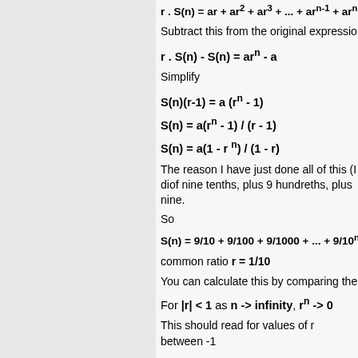Subtract this from the original expression,
Simplify
The reason I have just done all of this (I di... of nine tenths, plus 9 hundreths, plus nine...
So
common ratio r = 1/10
You can calculate this by comparing the ra...
For |r| < 1 as n -> infinity, r^n -> 0
This should read for values of r between -1...